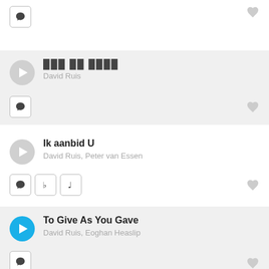[Figure (screenshot): Top partial music list item showing a comment icon button and a heart icon, cropped from above.]
[Figure (screenshot): Music list item with grey play button, song title in non-Latin script, artist 'David Ruis', comment icon, and heart icon. Background is light grey.]
[Figure (screenshot): Music list item with grey play button, song title 'Ik aanbid U', artists 'David Ruis, Peter van Essen', comment icon, flat icon, music note icon, and heart icon. White background.]
[Figure (screenshot): Music list item with blue play button (currently playing), song title 'To Give As You Gave', artists 'David Ruis, Eoghan Heaslip', comment icon, and heart icon. Light grey background.]